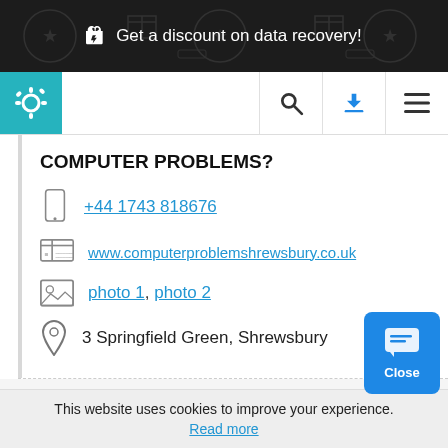Get a discount on data recovery!
[Figure (screenshot): Navigation bar with teal gear logo icon, search icon, download icon, and hamburger menu icon]
COMPUTER PROBLEMS?
+44 1743 818676
www.computerproblemshrewsbury.co.uk
photo 1, photo 2
3 Springfield Green, Shrewsbury
Working Hours
mon: 09:00 - 21:00
This website uses cookies to improve your experience. Read more